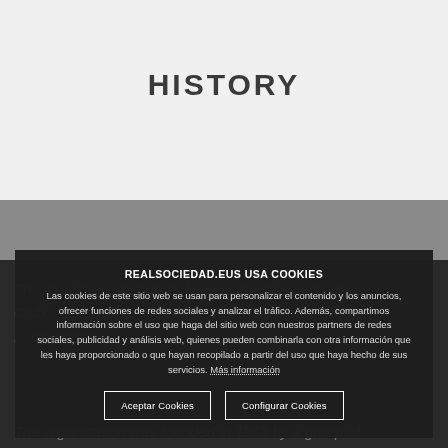HISTORY
The Real Sociedad de Palmos Undertaker Activities Club... made up of members who champion a passion... the ocean
REALSOCIEDAD.EUS USA COOKIES
Las cookies de este sitio web se usan para personalizar el contenido y los anuncios, ofrecer funciones de redes sociales y analizar el tráfico. Además, compartimos información sobre el uso que haga del sitio web con nuestros partners de redes sociales, publicidad y análisis web, quienes pueden combinarla con otra información que les haya proporcionado o que hayan recopilado a partir del uso que haya hecho de sus servicios. Más información
Aceptar Cookies | Configurar Cookies
The organisation was founded in 1963 by a group of